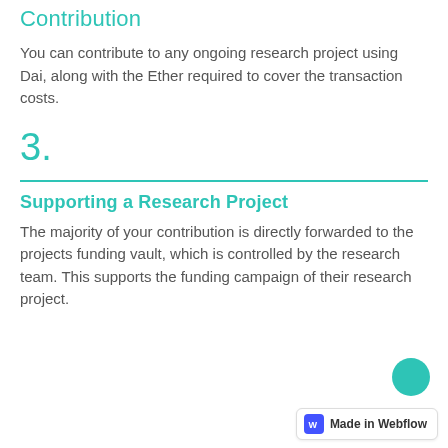Contribution
You can contribute to any ongoing research project using Dai, along with the Ether required to cover the transaction costs.
3.
Supporting a Research Project
The majority of your contribution is directly forwarded to the projects funding vault, which is controlled by the research team. This supports the funding campaign of their research project.
Made in Webflow